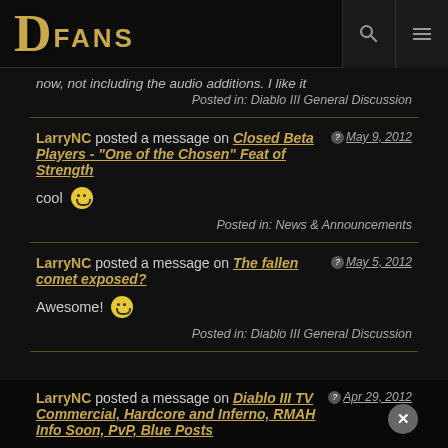DFANS
now, not including the audio additions. I like it
Posted in: Diablo III General Discussion
LarryNC posted a message on Closed Beta Players - "One of the Chosen" Feat of Strength — May 9, 2012
cool 🙂
Posted in: News & Announcements
LarryNC posted a message on The fallen comet exposed? — May 5, 2012
Awesome! 🙂
Posted in: Diablo III General Discussion
LarryNC posted a message on Diablo III TV Commercial, Hardcore and Inferno, RMAH Info Soon, PvP, Blue Posts — Apr 29, 2012